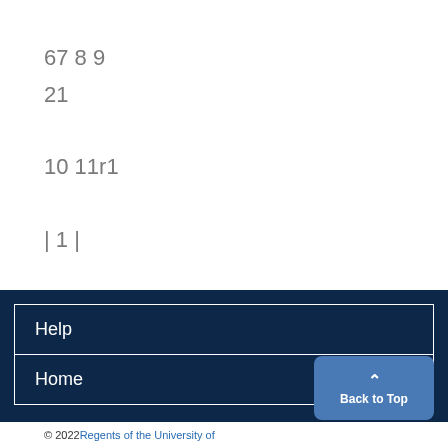67 8 9
21
10 11r1
| 1 |
Help
Home
© 2022 Regents of the University of